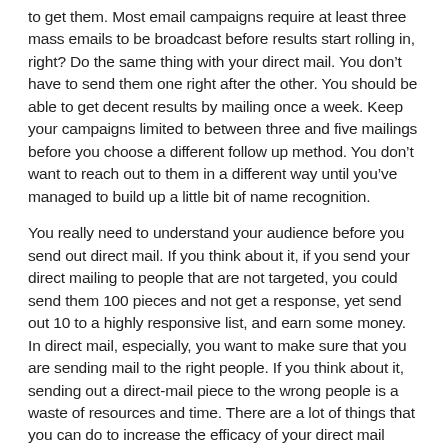to get them. Most email campaigns require at least three mass emails to be broadcast before results start rolling in, right? Do the same thing with your direct mail. You don't have to send them one right after the other. You should be able to get decent results by mailing once a week. Keep your campaigns limited to between three and five mailings before you choose a different follow up method. You don't want to reach out to them in a different way until you've managed to build up a little bit of name recognition.
You really need to understand your audience before you send out direct mail. If you think about it, if you send your direct mailing to people that are not targeted, you could send them 100 pieces and not get a response, yet send out 10 to a highly responsive list, and earn some money. In direct mail, especially, you want to make sure that you are sending mail to the right people. If you think about it, sending out a direct-mail piece to the wrong people is a waste of resources and time. There are a lot of things that you can do to increase the efficacy of your direct mail campaign. As with any marketing endeavor, it can be easier or harder than it looks depending on your approach. We've talked about some of the things you can do to increase your success within this article. Keep reading and studying to learn even more fabulous tricks and tips you can use.